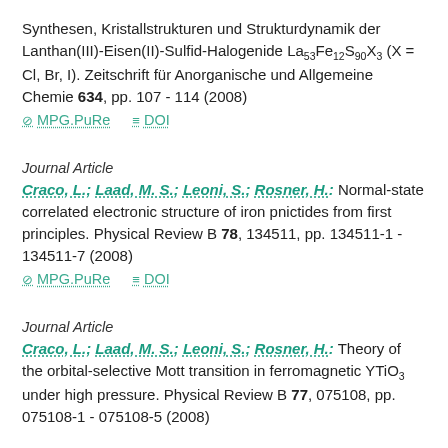Synthesen, Kristallstrukturen und Strukturdynamik der Lanthan(III)-Eisen(II)-Sulfid-Halogenide La53Fe12S90X3 (X = Cl, Br, I). Zeitschrift für Anorganische und Allgemeine Chemie 634, pp. 107 - 114 (2008)
MPG.PuRe   DOI
Journal Article
Craco, L.; Laad, M. S.; Leoni, S.; Rosner, H.: Normal-state correlated electronic structure of iron pnictides from first principles. Physical Review B 78, 134511, pp. 134511-1 - 134511-7 (2008)
MPG.PuRe   DOI
Journal Article
Craco, L.; Laad, M. S.; Leoni, S.; Rosner, H.: Theory of the orbital-selective Mott transition in ferromagnetic YTiO3 under high pressure. Physical Review B 77, 075108, pp. 075108-1 - 075108-5 (2008)